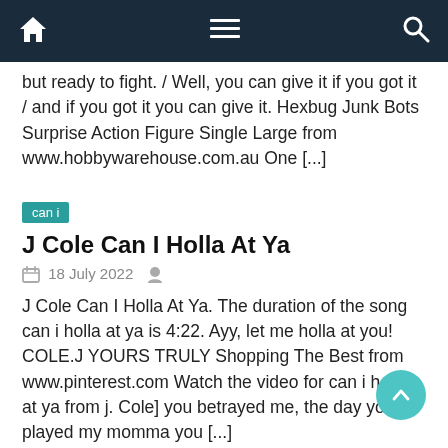Navigation bar with home, menu, and search icons
but ready to fight. / Well, you can give it if you got it / and if you got it you can give it. Hexbug Junk Bots Surprise Action Figure Single Large from www.hobbywarehouse.com.au One [...]
can i
J Cole Can I Holla At Ya
18 July 2022
J Cole Can I Holla At Ya. The duration of the song can i holla at ya is 4:22. Ayy, let me holla at you! COLE.J YOURS TRULY Shopping The Best from www.pinterest.com Watch the video for can i holla at ya from j. Cole] you betrayed me, the day you played my momma you [...]
can i
I Know A Man Who Can Guarantee A...